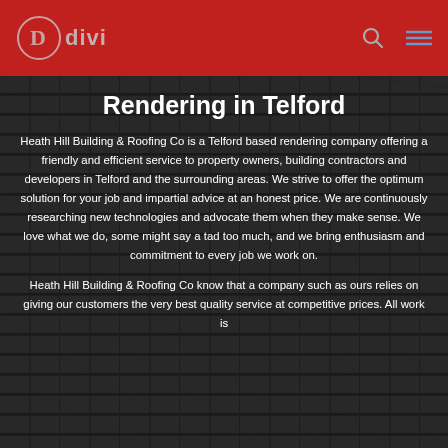[Figure (logo): Divi logo: circle with letter D inside, followed by text 'divi' in grey on red background]
Rendering in Telford
Heath Hill Building & Roofing Co is a Telford based rendering company offering a friendly and efficient service to property owners, building contractors and developers in Telford and the surrounding areas. We strive to offer the optimum solution for your job and impartial advice at an honest price. We are continuously researching new technologies and advocate them when they make sense. We love what we do, some might say a tad too much, and we bring enthusiasm and commitment to every job we work on.
Heath Hill Building & Roofing Co know that a company such as ours relies on giving our customers the very best quality service at competitive prices. All work is